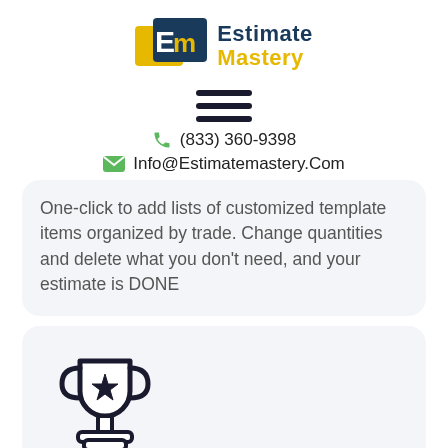[Figure (logo): Estimate Mastery logo with gold and dark blue 'Em' icon and text 'Estimate Mastery']
[Figure (other): Hamburger menu icon (three horizontal lines)]
(833) 360-9398
Info@Estimatemastery.Com
One-click to add lists of customized template items organized by trade. Change quantities and delete what you don't need, and your estimate is DONE
[Figure (illustration): Trophy icon with a star on it]
Expert Choice Promise